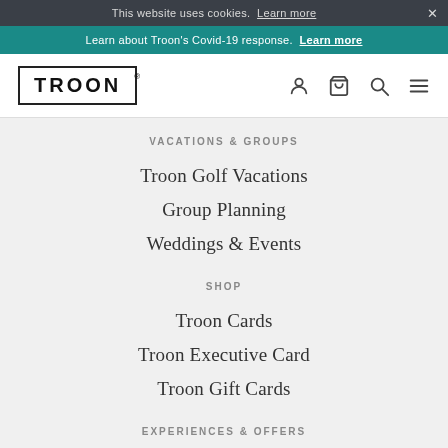This website uses cookies. Learn more ×
Learn about Troon's Covid-19 response. Learn more
[Figure (logo): Troon logo in rectangular border with registered trademark symbol]
VACATIONS & GROUPS
Troon Golf Vacations
Group Planning
Weddings & Events
SHOP
Troon Cards
Troon Executive Card
Troon Gift Cards
EXPERIENCES & OFFERS